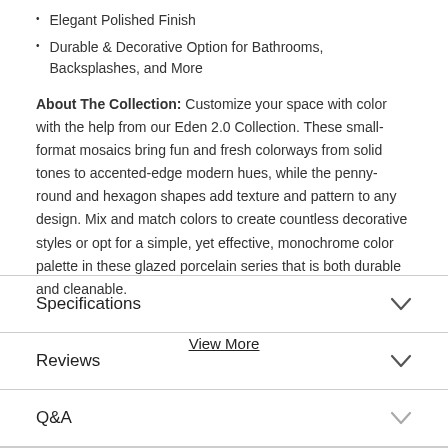Elegant Polished Finish
Durable & Decorative Option for Bathrooms, Backsplashes, and More
About The Collection: Customize your space with color with the help from our Eden 2.0 Collection. These small-format mosaics bring fun and fresh colorways from solid tones to accented-edge modern hues, while the penny-round and hexagon shapes add texture and pattern to any design. Mix and match colors to create countless decorative styles or opt for a simple, yet effective, monochrome color palette in these glazed porcelain series that is both durable and cleanable.
View More
Specifications
Reviews
Q&A